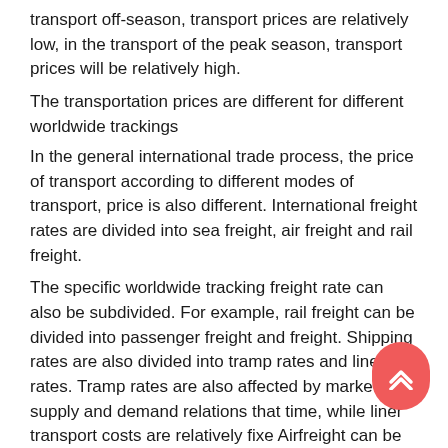transport off-season, transport prices are relatively low, in the transport of the peak season, transport prices will be relatively high.
The transportation prices are different for different worldwide trackings
In the general international trade process, the price of transport according to different modes of transport, price is also different. International freight rates are divided into sea freight, air freight and rail freight.
The specific worldwide tracking freight rate can also be subdivided. For example, rail freight can be divided into passenger freight and freight. Shipping rates are also divided into tramp rates and liner rates. Tramp rates are also affected by market supply and demand relations that time, while liner transport costs are relatively fixe Airfreight can be divided into general goods, designated goods and special goods, and the specific transportation